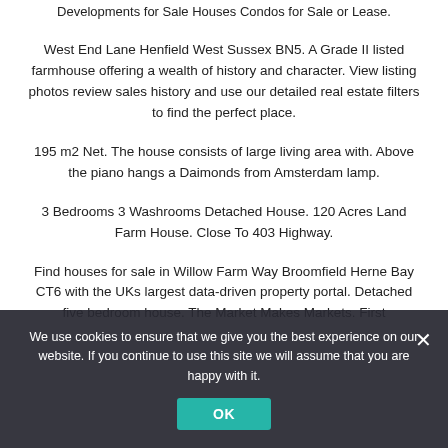Developments for Sale Houses Condos for Sale or Lease.
West End Lane Henfield West Sussex BN5. A Grade II listed farmhouse offering a wealth of history and character. View listing photos review sales history and use our detailed real estate filters to find the perfect place.
195 m2 Net. The house consists of large living area with. Above the piano hangs a Daimonds from Amsterdam lamp.
3 Bedrooms 3 Washrooms Detached House. 120 Acres Land Farm House. Close To 403 Highway.
Find houses for sale in Willow Farm Way Broomfield Herne Bay CT6 with the UKs largest data-driven property portal. Detached five bedroom house. The Market Makes Markets. First...
We use cookies to ensure that we give you the best experience on our website. If you continue to use this site we will assume that you are happy with it.
OK